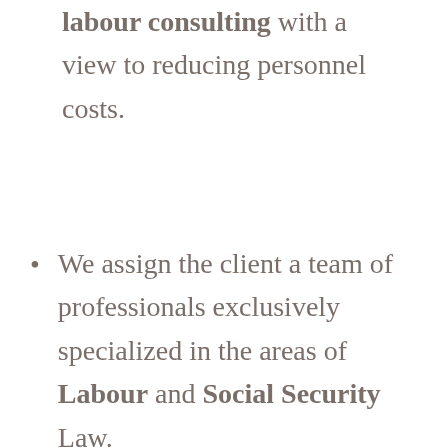labour consulting with a view to reducing personnel costs.
We assign the client a team of professionals exclusively specialized in the areas of Labour and Social Security Law.
We avert sanctions and inspections through the legal certification of your